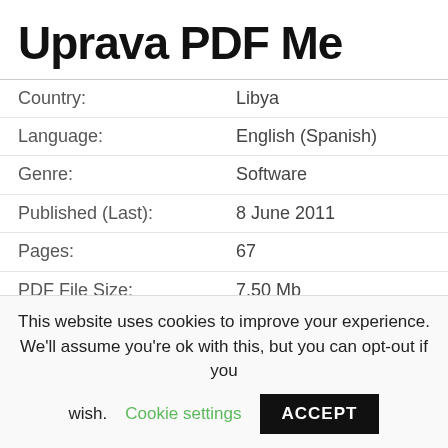Uprava PDF Me
| Country: | Libya |
| Language: | English (Spanish) |
| Genre: | Software |
| Published (Last): | 8 June 2011 |
| Pages: | 67 |
| PDF File Size: | 7.50 Mb |
| ePub File Size: | 11.62 Mb |
| ISBN: | 967-5-74196-302-2 |
| Downloads: | 37712 |
| Price: | Free* [*Free Regsitration Required] |
This website uses cookies to improve your experience. We'll assume you're ok with this, but you can opt-out if you wish. Cookie settings ACCEPT